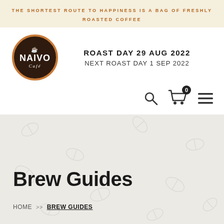THE SHORTEST ROUTE TO HAPPINESS IS A BAG OF FRESHLY ROASTED COFFEE
[Figure (logo): Naivo Café circular logo with dark brown background and orange border, coffee bean icon above text]
ROAST DAY 29 AUG 2022
NEXT ROAST DAY 1 SEP 2022
[Figure (infographic): Navigation icons: search magnifying glass, shopping cart with 0 badge, and hamburger menu]
Brew Guides
HOME >> BREW GUIDES